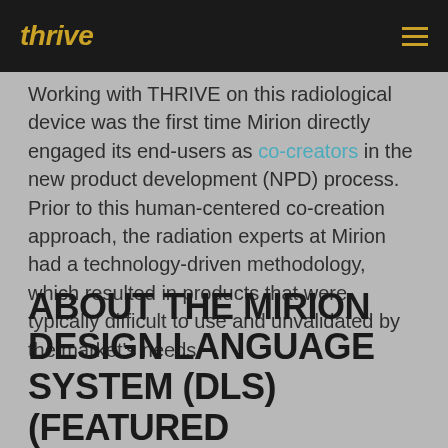thrive
Working with THRIVE on this radiological device was the first time Mirion directly engaged its end-users as co-creators in the new product development (NPD) process. Prior to this human-centered co-creation approach, the radiation experts at Mirion had a technology-driven methodology, which resulted in products that were typically difficult to use and unvalidated by the market's needs.
ABOUT THE MIRION DESIGN LANGUAGE SYSTEM (DLS) (FEATURED